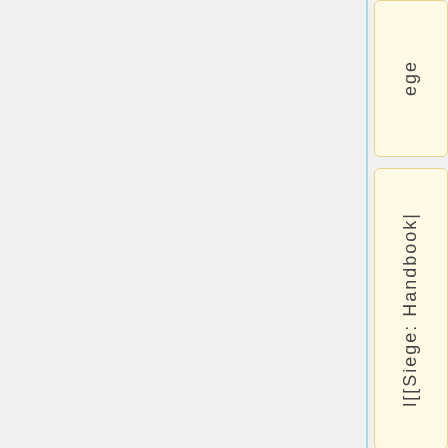[Figure (other): Blank gray main page area with a vertical sidebar on the right containing two tab labels: 'ege' in the top tab box and 'l[[Siege: Handbook|' in the bottom tab box, both rendered as vertical text in yellow-bordered boxes.]
ege
l[[Siege: Handbook|